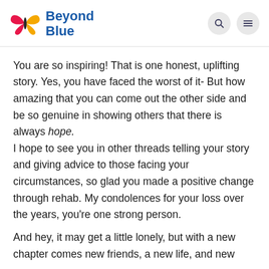[Figure (logo): Beyond Blue logo with pink and yellow butterfly, blue text reading 'Beyond Blue']
You are so inspiring! That is one honest, uplifting story. Yes, you have faced the worst of it- But how amazing that you can come out the other side and be so genuine in showing others that there is always hope.
I hope to see you in other threads telling your story and giving advice to those facing your circumstances, so glad you made a positive change through rehab. My condolences for your loss over the years, you're one strong person.
And hey, it may get a little lonely, but with a new chapter comes new friends, a new life, and new